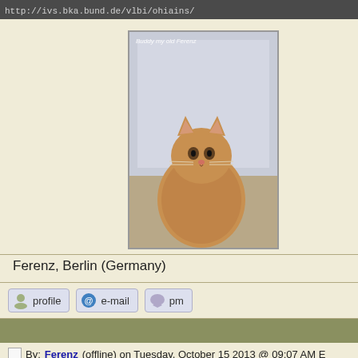http://ivs.bka.bund.de/vlbi/ohiains/
[Figure (photo): A fluffy orange/brown cat sitting and looking at camera, with text 'Buddy my old Ferenz' at top]
Ferenz, Berlin (Germany)
profile  e-mail  pm
By: Ferenz (offline) on Tuesday, October 15 2013 @ 09:07 AM E
[Figure (photo): A person standing in a snowy outdoor setting, wearing dark clothing, photo cut off at bottom of page]